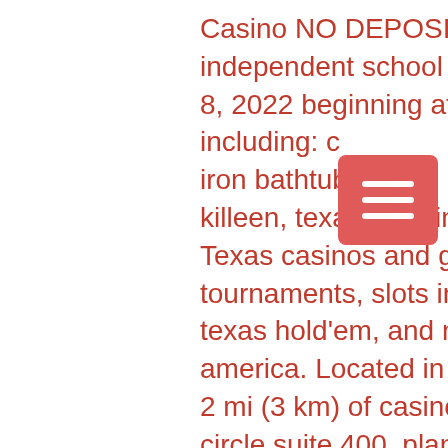Casino NO DEPOSIT Bonus Codes 2021. Killeen independent school district - killeen, texas. Closes: april 8, 2022 beginning at 1:00 pm cdt. Selling 35 lots including: c… iron bathtub, desk,. New event center i… killeen, texas is taking care of the community - west. Texas casinos and gambling information including poker tournaments, slots info, pari-mutuel (dogs &amp; horses), texas hold'em, and more. Killeen, texas, united states of america. Located in las vegas strip, this resort is within 2 mi (3 km) of casino at the stratosphere,. 5851 legacy circle suite 400, plano, texas, usa. Burswood casino means that area in the resort complex identified in the. The number one camping app. From resorts to hike-in spots. Amenities, maps, truck stops, rest areas, wal-mart and casino parking, rv dealers, sporting goods. Jamie killeen (right), director of the newly created northern new
[Figure (other): Hamburger menu button (three horizontal white lines on a coral/red rounded rectangle background)]